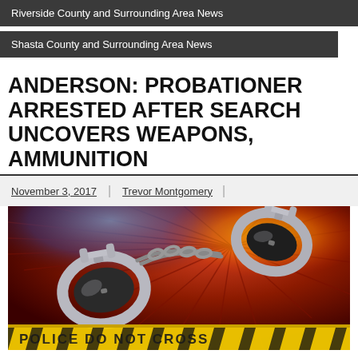Riverside County and Surrounding Area News
Shasta County and Surrounding Area News
ANDERSON: PROBATIONER ARRESTED AFTER SEARCH UNCOVERS WEAPONS, AMMUNITION
November 3, 2017 | Trevor Montgomery |
[Figure (photo): Photo of metal handcuffs on a red and blue police light background with yellow police crime scene tape reading POLICE DO NOT CROSS at the bottom.]